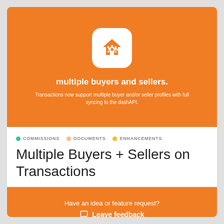[Figure (logo): White rounded square containing an orange house-with-gear icon on orange background]
multiple buyers and sellers.
Transactions now support multiple buyer and/or seller profiles with full syncing to the dashAPI.
COMMISSIONS  DOCUMENTS  ENHANCEMENTS
Multiple Buyers + Sellers on Transactions
Have an idea or feature request?
Leave feedback